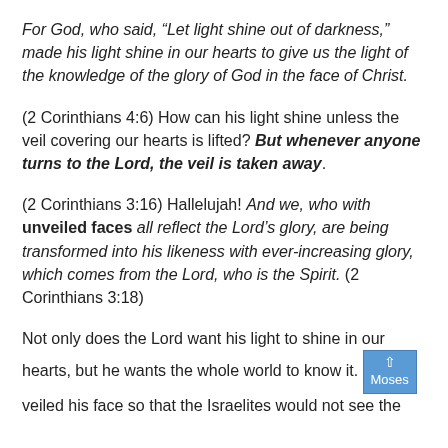For God, who said, “Let light shine out of darkness,” made his light shine in our hearts to give us the light of the knowledge of the glory of God in the face of Christ.
(2 Corinthians 4:6) How can his light shine unless the veil covering our hearts is lifted? But whenever anyone turns to the Lord, the veil is taken away.
(2 Corinthians 3:16) Hallelujah! And we, who with unveiled faces all reflect the Lord’s glory, are being transformed into his likeness with ever-increasing glory, which comes from the Lord, who is the Spirit. (2 Corinthians 3:18)
Not only does the Lord want his light to shine in our hearts, but he wants the whole world to know it. Moses veiled his face so that the Israelites would not see the